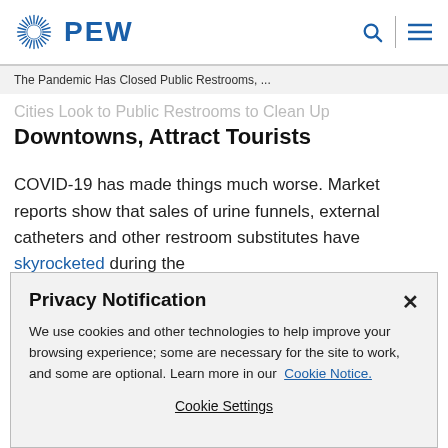PEW
The Pandemic Has Closed Public Restrooms, ...
Cities Look to Public Restrooms to Clean Up Downtowns, Attract Tourists
COVID-19 has made things much worse. Market reports show that sales of urine funnels, external catheters and other restroom substitutes have skyrocketed during the
Privacy Notification
We use cookies and other technologies to help improve your browsing experience; some are necessary for the site to work, and some are optional. Learn more in our Cookie Notice.
Cookie Settings